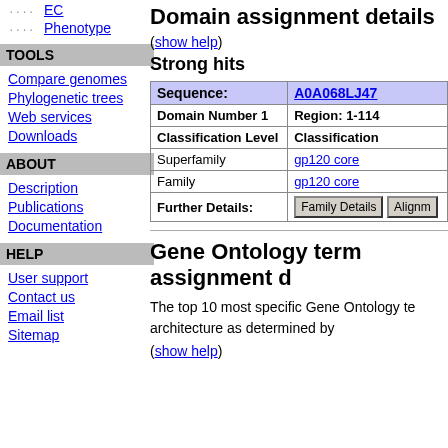EC
Phenotype
TOOLS
Compare genomes
Phylogenetic trees
Web services
Downloads
ABOUT
Description
Publications
Documentation
HELP
User support
Contact us
Email list
Sitemap
Domain assignment details
(show help)
Strong hits
| Sequence: | A0A068LJ47 |
| --- | --- |
| Domain Number 1 | Region: 1-114 |
| Classification Level | Classification |
| Superfamily | gp120 core |
| Family | gp120 core |
| Further Details: | Family Details | Alignm... |
Gene Ontology term assignment d
The top 10 most specific Gene Ontology te architecture as determined by
(show help)